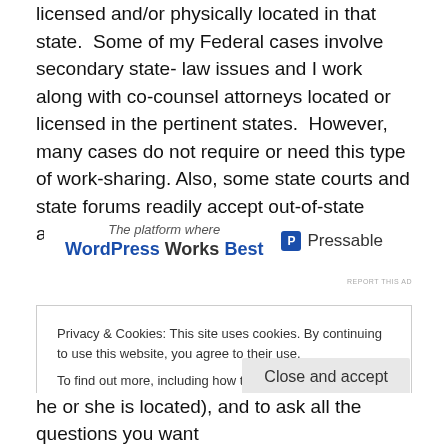licensed and/or physically located in that state.  Some of my Federal cases involve secondary state- law issues and I work along with co-counsel attorneys located or licensed in the pertinent states.  However, many cases do not require or need this type of work-sharing. Also, some state courts and state forums readily accept out-of-state attorneys to work within those forums.
[Figure (other): Advertisement banner: 'The platform where WordPress Works Best' with Pressable logo]
REPORT THIS AD
Privacy & Cookies: This site uses cookies. By continuing to use this website, you agree to their use. To find out more, including how to control cookies, see here: Cookie Policy
Close and accept
he or she is located), and to ask all the questions you want